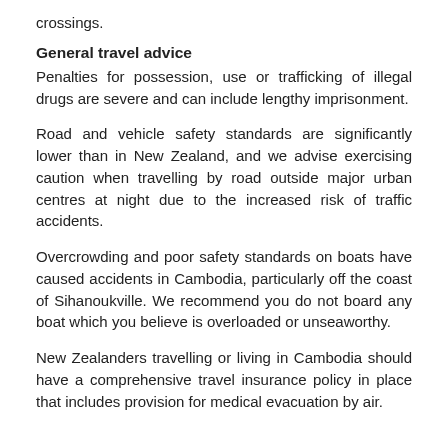crossings.
General travel advice
Penalties for possession, use or trafficking of illegal drugs are severe and can include lengthy imprisonment.
Road and vehicle safety standards are significantly lower than in New Zealand, and we advise exercising caution when travelling by road outside major urban centres at night due to the increased risk of traffic accidents.
Overcrowding and poor safety standards on boats have caused accidents in Cambodia, particularly off the coast of Sihanoukville. We recommend you do not board any boat which you believe is overloaded or unseaworthy.
New Zealanders travelling or living in Cambodia should have a comprehensive travel insurance policy in place that includes provision for medical evacuation by air.